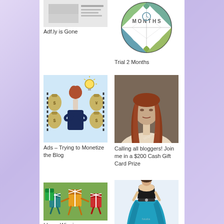[Figure (screenshot): Small thumbnail image, partially visible at top, blog post preview]
Adf.ly is Gone
[Figure (illustration): Circular badge with diamond/argyle pattern and text MONTHS, teal and green colors]
Trial 2 Months
[Figure (illustration): Illustration of a businesswoman in dark suit with arms crossed, surrounded by money bags, light bulb above, blue background]
Ads – Trying to Monetize the Blog
[Figure (photo): Photo of a woman with long wavy auburn hair, bare shoulders, looking at camera]
Calling all bloggers! Join me in a $200 Cash Gift Card Prize
[Figure (illustration): Colorful animated gift box characters dancing on green background]
I Love Winning
[Figure (photo): Woman in black strapless top and long turquoise/teal skirt, formal dress photo]